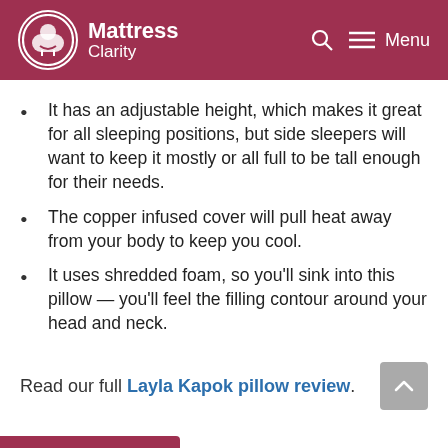Mattress Clarity — Menu
It has an adjustable height, which makes it great for all sleeping positions, but side sleepers will want to keep it mostly or all full to be tall enough for their needs.
The copper infused cover will pull heat away from your body to keep you cool.
It uses shredded foam, so you'll sink into this pillow — you'll feel the filling contour around your head and neck.
Read our full Layla Kapok pillow review.